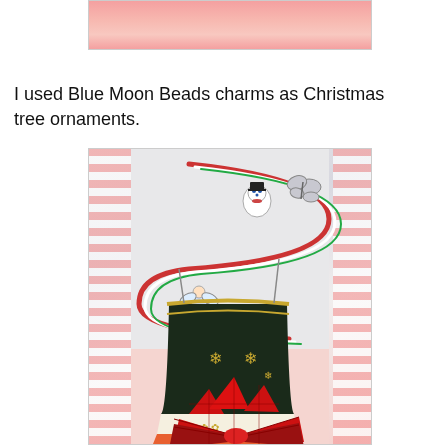[Figure (photo): Partial view of a Christmas-themed craft with pink/salmon gradient background, cropped at top of page]
I used Blue Moon Beads charms as Christmas tree ornaments.
[Figure (photo): A decorative Christmas bucket/pail decorated with a spiral candy cane rope, Blue Moon Beads charms (snowman, butterfly, angel), a dark bucket with snowflake pattern, and a large red plaid bow, on a pink striped background]